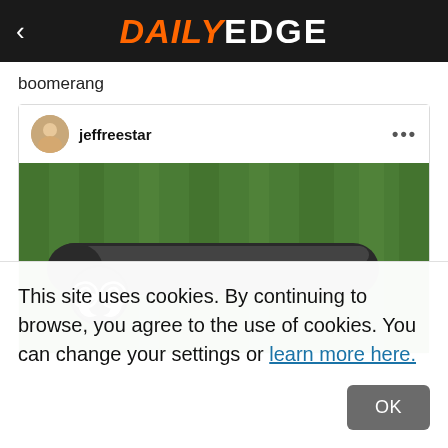DAILY EDGE
boomerang
[Figure (screenshot): Instagram post by jeffreestar showing a black Chanel boomerang toy on grass]
This site uses cookies. By continuing to browse, you agree to the use of cookies. You can change your settings or learn more here.